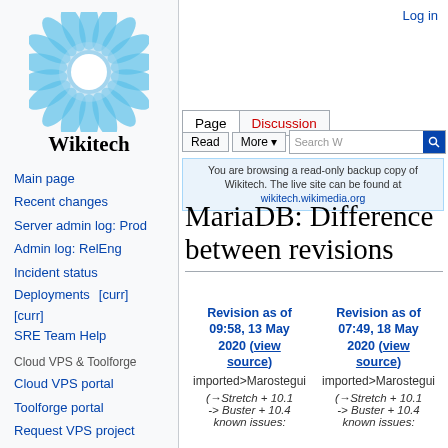Log in
[Figure (logo): Wikitech sunflower/gear logo in blue and white]
Wikitech
Main page
Recent changes
Server admin log: Prod
Admin log: RelEng
Incident status
Deployments   [curr] [curr]
SRE Team Help
Cloud VPS & Toolforge
Cloud VPS portal
Toolforge portal
Request VPS project
Admin log: Cloud VPS
You are browsing a read-only backup copy of Wikitech. The live site can be found at wikitech.wikimedia.org
MariaDB: Difference between revisions
| Revision as of 09:58, 13 May 2020 (view source) | Revision as of 07:49, 18 May 2020 (view source) |
| --- | --- |
| imported>Marostegui | imported>Marostegui |
| (→Stretch + 10.1 -> Buster + 10.4 known issues: | (→Stretch + 10.1 -> Buster + 10.4 known issues: |